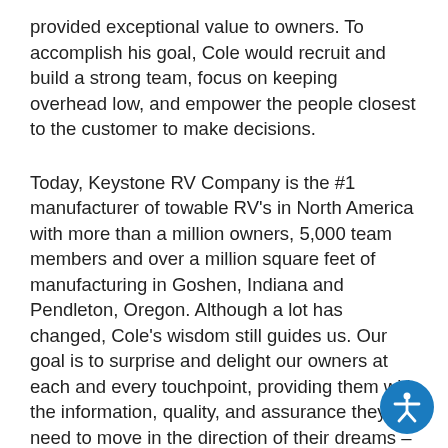provided exceptional value to owners. To accomplish his goal, Cole would recruit and build a strong team, focus on keeping overhead low, and empower the people closest to the customer to make decisions.
Today, Keystone RV Company is the #1 manufacturer of towable RV's in North America with more than a million owners, 5,000 team members and over a million square feet of manufacturing in Goshen, Indiana and Pendleton, Oregon. Although a lot has changed, Cole's wisdom still guides us. Our goal is to surprise and delight our owners at each and every touchpoint, providing them with the information, quality, and assurance they need to move in the direction of their dreams – to Live It Out™.